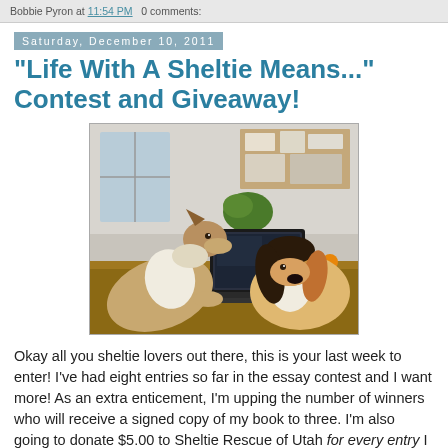Bobbie Pyron at 11:54 PM   0 comments:
Saturday, December 10, 2011
"Life With A Sheltie Means..." Contest and Giveaway!
[Figure (photo): Two dogs sitting at a desk in front of a laptop computer in an office/study room setting. One dog appears to be a Sheltie (left) and the other a Beagle (right).]
Okay all you sheltie lovers out there, this is your last week to enter! I've had eight entries so far in the essay contest and I want more! As an extra enticement, I'm upping the number of winners who will receive a signed copy of my book to three. I'm also going to donate $5.00 to Sheltie Rescue of Utah for every entry I receive, rather than two dollars.